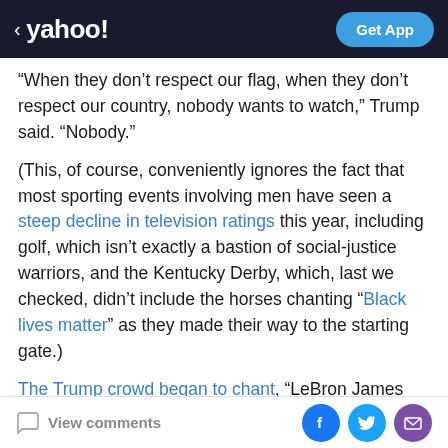yahoo! | Get App
“When they don’t respect our flag, when they don’t respect our country, nobody wants to watch,” Trump said. “Nobody.”
(This, of course, conveniently ignores the fact that most sporting events involving men have seen a steep decline in television ratings this year, including golf, which isn’t exactly a bastion of social-justice warriors, and the Kentucky Derby, which, last we checked, didn’t include the horses chanting “Black lives matter” as they made their way to the starting gate.)
The Trump crowd began to chant, “LeBron James sucks! LeBron James sucks!”
View comments